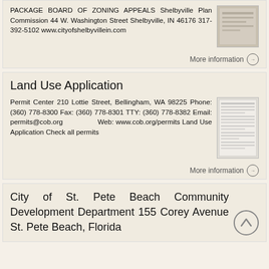PACKAGE BOARD OF ZONING APPEALS Shelbyville Plan Commission 44 W. Washington Street Shelbyville, IN 46176 317-392-5102 www.cityofshelbyvillein.com
More information →
Land Use Application
Permit Center 210 Lottie Street, Bellingham, WA 98225 Phone: (360) 778-8300 Fax: (360) 778-8301 TTY: (360) 778-8382 Email: permits@cob.org Web: www.cob.org/permits Land Use Application Check all permits
More information →
City of St. Pete Beach Community Development Department 155 Corey Avenue St. Pete Beach, Florida